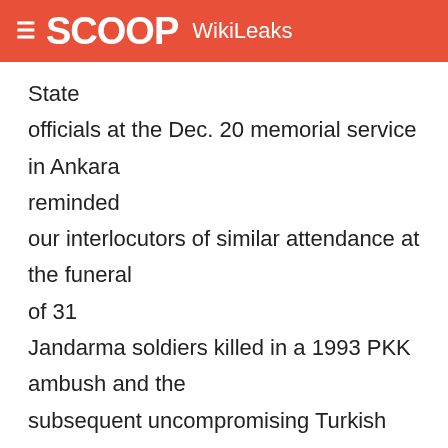SCOOP WikiLeaks
State officials at the Dec. 20 memorial service in Ankara reminded our interlocutors of similar attendance at the funeral of 31 Jandarma soldiers killed in a 1993 PKK ambush and the subsequent uncompromising Turkish response. Both expected that, once the Turkish authorities determine who was responsible (not hard to do, they asserted), Turkey will take revenge through covert action.

PKK